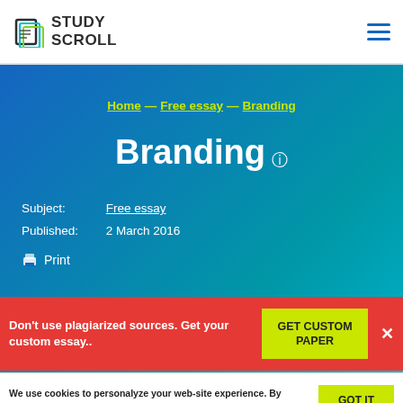[Figure (logo): StudyScroll logo with stylized book icon and text STUDY SCROLL]
StudyScroll — navigation header with hamburger menu
Home — Free essay — Branding
Branding ℹ
Subject: Free essay
Published: 2 March 2016
🖨 Print
Don't use plagiarized sources. Get your custom essay.. GET CUSTOM PAPER ×
We use cookies to personalyze your web-site experience. By continuing we'll assume you board with our cookie policy. GOT IT